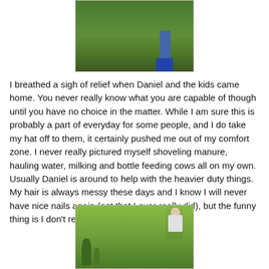[Figure (photo): Partial photo showing legs of a person walking in a green grassy field, cut off at top of page]
I breathed a sigh of relief when Daniel and the kids came home. You never really know what you are capable of though until you have no choice in the matter. While I am sure this is probably a part of everyday for some people, and I do take my hat off to them, it certainly pushed me out of my comfort zone. I never really pictured myself shoveling manure, hauling water, milking and bottle feeding cows all on my own. Usually Daniel is around to help with the heavier duty things. My hair is always messy these days and I know I will never have nice nails again (not that I ever really did), but the funny thing is I don't really care that much.
[Figure (photo): Photo of a girl with dark hair wearing a white shirt, appearing to be on horseback in a grassy field with a road and trees in the background]